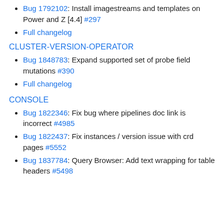Bug 1792102: Install imagestreams and templates on Power and Z [4.4] #297
Full changelog
CLUSTER-VERSION-OPERATOR
Bug 1848783: Expand supported set of probe field mutations #390
Full changelog
CONSOLE
Bug 1822346: Fix bug where pipelines doc link is incorrect #4985
Bug 1822437: Fix instances / version issue with crd pages #5552
Bug 1837784: Query Browser: Add text wrapping for table headers #5498